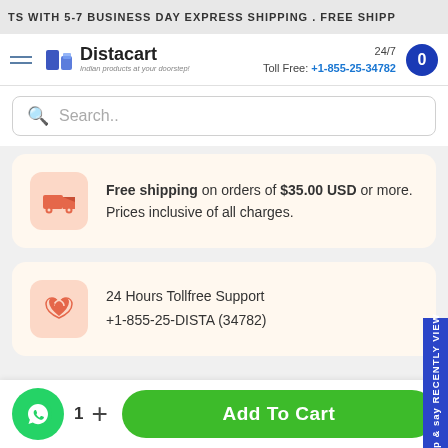TS WITH 5-7 BUSINESS DAY EXPRESS SHIPPING . FREE SHIPP
[Figure (logo): Distacart logo with truck icon and tagline 'Indian products at your doorstep!']
24/7 Toll Free: +1-855-25-34782
Search..
Free shipping on orders of $35.00 USD or more. Prices inclusive of all charges.
24 Hours Tollfree Support
+1-855-25-DISTA (34782)
Sign up & say RECENTLY VIEW
1 + Add To Cart